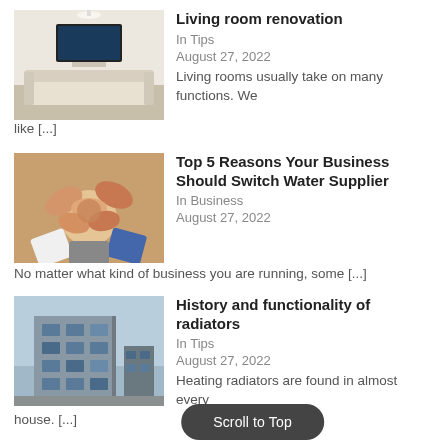[Figure (photo): Living room interior with TV on wall, white furniture, modern decor]
Living room renovation
In Tips
August 27, 2022
Living rooms usually take on many functions. We like [...]
[Figure (photo): Group of people putting hands together in a circle, teamwork concept]
Top 5 Reasons Your Business Should Switch Water Supplier
In Business
August 27, 2022
No matter what kind of business you are running, some [...]
[Figure (photo): Modern building exterior with glass windows and architectural detail]
History and functionality of radiators
In Tips
August 27, 2022
Heating radiators are found in almost every house. [...]